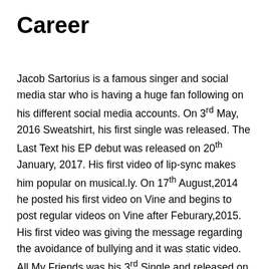Career
Jacob Sartorius is a famous singer and social media star who is having a huge fan following on his different social media accounts. On 3rd May, 2016 Sweatshirt, his first single was released. The Last Text his EP debut was released on 20th January, 2017. His first video of lip-sync makes him popular on musical.ly. On 17th August,2014 he posted his first video on Vine and begins to post regular videos on Vine after Feburary,2015. His first video was giving the message regarding the avoidance of bullying and it was static video. All My Friends was his 3rd Single and released on his 14th birthday. To make the vlogs of his life he started the Youtube channel by the name of Life Of Jacob. He was signed by Hayden Summerall, Luna Blaise and Zach Clayton for their joining to the